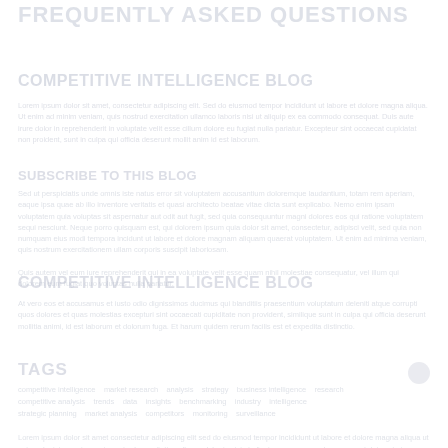FREQUENTLY ASKED QUESTIONS
COMPETITIVE INTELLIGENCE BLOG
Lorem ipsum dolor sit amet, consectetur adipiscing elit. Sed do eiusmod tempor incididunt ut labore et dolore magna aliqua. Ut enim ad minim veniam, quis nostrud exercitation ullamco laboris nisi ut aliquip ex ea commodo consequat.
SUBSCRIBE TO THIS BLOG
Duis aute irure dolor in reprehenderit in voluptate velit esse cillum dolore eu fugiat nulla pariatur. Excepteur sint occaecat cupidatat non proident, sunt in culpa qui officia deserunt mollit anim id est laborum. Sed ut perspiciatis unde omnis iste natus error sit voluptatem accusantium doloremque laudantium.
COMPETITIVE INTELLIGENCE BLOG
Nemo enim ipsam voluptatem quia voluptas sit aspernatur aut odit aut fugit, sed quia consequuntur magni dolores eos qui ratione voluptatem sequi nesciunt. Neque porro quisquam est, qui dolorem ipsum quia dolor sit amet.
TAGS
competitive intelligence   market research   analysis   strategy   business intelligence   research   competitive analysis   trends   data   insights   benchmarking   industry